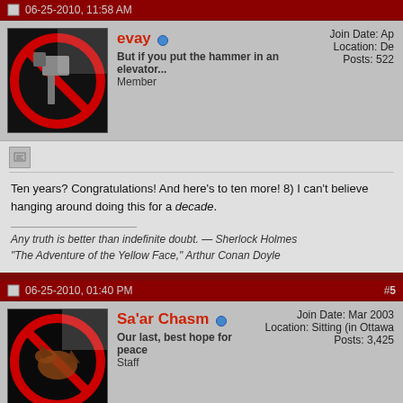06-25-2010, 11:58 AM
evay
But if you put the hammer in an elevator...
Member
Join Date: Ap...
Location: De...
Posts: 522
Ten years? Congratulations! And here's to ten more! 8) I can't believe hanging around doing this for a decade.

Any truth is better than indefinite doubt. — Sherlock Holmes
"The Adventure of the Yellow Face," Arthur Conan Doyle
06-25-2010, 01:40 PM  #5
Sa'ar Chasm
Our last, best hope for peace
Staff
Join Date: Mar 2003
Location: Sitting (in Ottawa...
Posts: 3,425